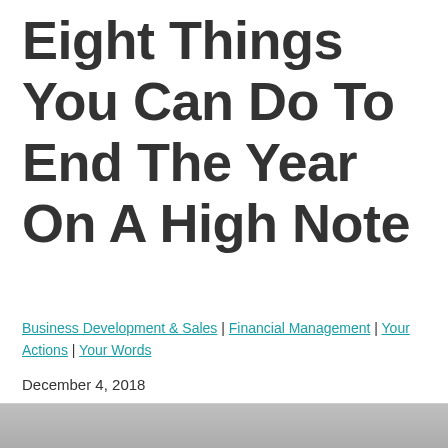Eight Things You Can Do To End The Year On A High Note
Business Development & Sales | Financial Management | Your Actions | Your Words
December 4, 2018
[Figure (photo): Partial image strip at bottom of page showing a photo]